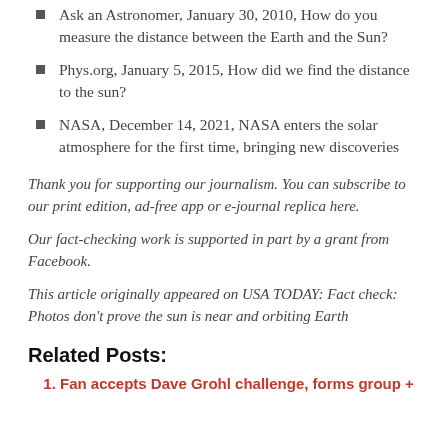Ask an Astronomer, January 30, 2010, How do you measure the distance between the Earth and the Sun?
Phys.org, January 5, 2015, How did we find the distance to the sun?
NASA, December 14, 2021, NASA enters the solar atmosphere for the first time, bringing new discoveries
Thank you for supporting our journalism. You can subscribe to our print edition, ad-free app or e-journal replica here.
Our fact-checking work is supported in part by a grant from Facebook.
This article originally appeared on USA TODAY: Fact check: Photos don't prove the sun is near and orbiting Earth
Related Posts:
Fan accepts Dave Grohl challenge, forms group +